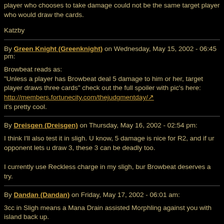player who chooses to take damage could not be the same target player who would draw the cards.
Katzby
By Green Knight (Greenknight) on Wednesday, May 15, 2002 - 06:45 pm:
Browbeat reads as:
"Unless a player has Browbeat deal 5 damage to him or her, target player draws three cards" check out the full spoiler with pic's here:
http://members.fortunecity.com/thejudgmentday/↗
it's pretty cool.
By Dreisgen (Dreisgen) on Thursday, May 16, 2002 - 02:54 pm:
I think I'll also test it in sligh. U know, 5 damage is nice for R2, and if ur opponent lets u draw 3, these 3 can be deadly too.

I currently use Reckless charge in my sligh, bur Browbeat deserves a try.
By Dandan (Dandan) on Friday, May 17, 2002 - 06:01 am:
3cc in Sligh means a Mana Drain assisted Morphling against you with island back up.
By Razor (Razor) on Friday, May 17, 2002 - 07:46 am: